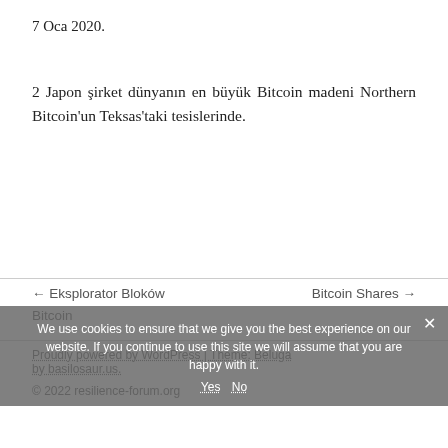7 Oca 2020.
2 Japon şirket dünyanın en büyük Bitcoin madeni Northern Bitcoin'un Teksas'taki tesislerinde.
← Eksplorator Bloków Bitcoin
Bitcoin Shares →
Proudly powered by WordPress | Theme: Beluga by basilosaur.us.
© 2022 resilience-forum.org
We use cookies to ensure that we give you the best experience on our website. If you continue to use this site we will assume that you are happy with it.
Yes   No